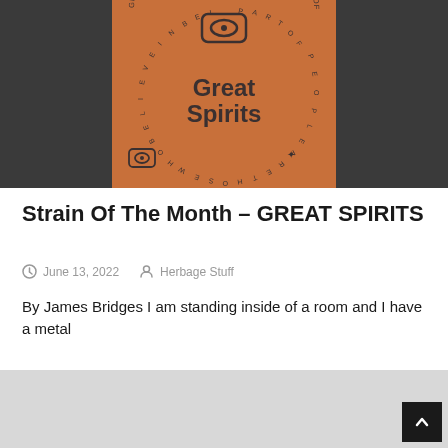[Figure (illustration): Orange/terracotta square badge with 'Great Spirits' text in bold, an eye/lens icon at top, circular text reading 'GREAT SPIRITS ARE THOSE WHO BELIEVE IN BEING A PART OF' around the perimeter, set against a dark charcoal background.]
Strain Of The Month – GREAT SPIRITS
June 13, 2022   Herbage Stuff
By James Bridges I am standing inside of a room and I have a metal
[Figure (photo): Light grey/silver image area partially visible at the bottom of the page.]